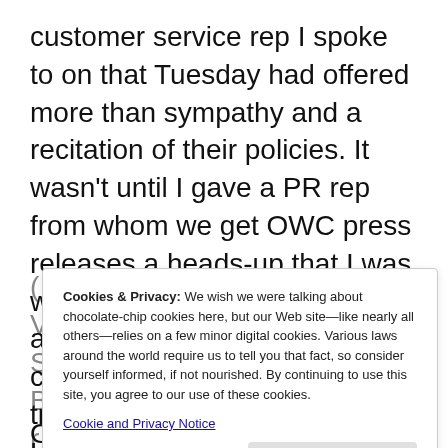customer service rep I spoke to on that Tuesday had offered more than sympathy and a recitation of their policies. It wasn't until I gave a PR rep from whom we get OWC press releases a heads-up that I was working on a “caveat emptor” article featuring one of her clients that anyone at OWC tried to get in touch with Hitachi to intervene on my behalf.
Cookies & Privacy: We wish we were talking about chocolate-chip cookies here, but our Web site—like nearly all others—relies on a few minor digital cookies. Various laws around the world require us to tell you that fact, so consider yourself informed, if not nourished. By continuing to use this site, you agree to our use of these cookies.
Cookie and Privacy Notice
Close and Accept
Once while my employer was closed, which